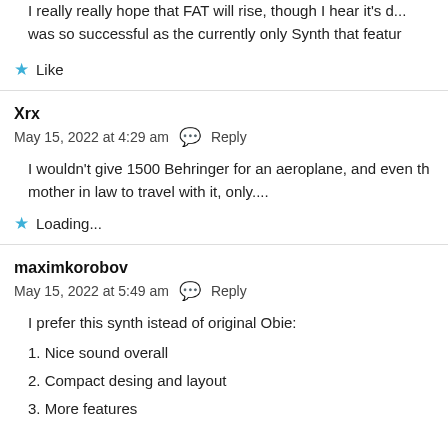I really really hope that FAT will rise, though I hear it's a... was so successful as the currently only Synth that featu...
★ Like
Xrx
May 15, 2022 at 4:29 am  💬 Reply
I wouldn't give 1500 Behringer for an aeroplane, and even th... mother in law to travel with it, only....
★ Loading...
maximkorobov
May 15, 2022 at 5:49 am  💬 Reply
I prefer this synth istead of original Obie:
1. Nice sound overall
2. Compact desing and layout
3. More features